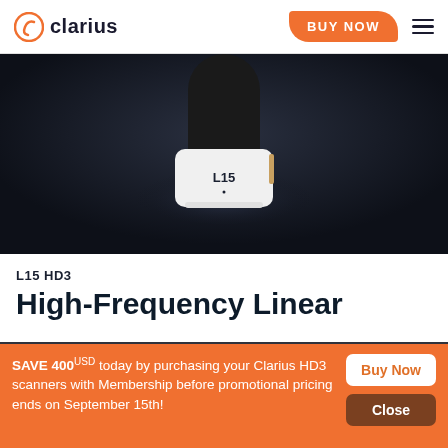clarius | BUY NOW
[Figure (photo): Clarius L15 HD3 high-frequency linear ultrasound scanner product photo on dark background, showing the white scanner probe labeled 'L15']
L15 HD3
High-Frequency Linear
We use cookies to ensure that we give you the best experience on our website. By using our website, you agre...
SAVE 400USD today by purchasing your Clarius HD3 scanners with Membership before promotional pricing ends on September 15th!